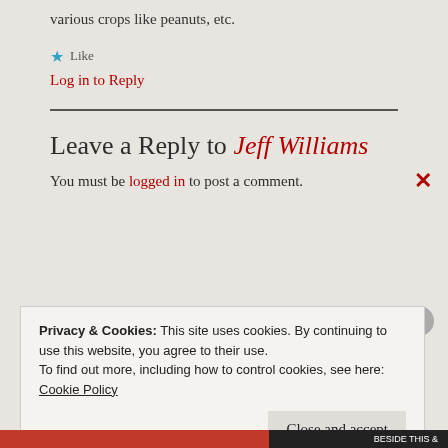various crops like peanuts, etc.
★ Like
Log in to Reply
Leave a Reply to Jeff Williams
You must be logged in to post a comment.
Privacy & Cookies: This site uses cookies. By continuing to use this website, you agree to their use.
To find out more, including how to control cookies, see here:
Cookie Policy
Close and accept